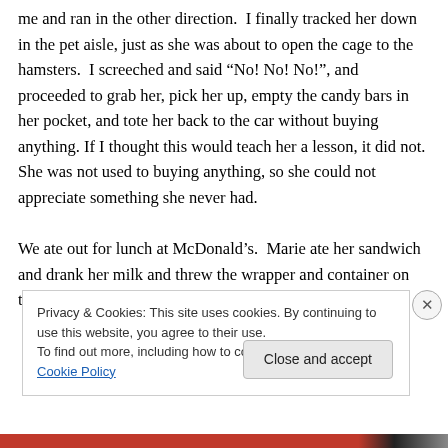me and ran in the other direction.  I finally tracked her down in the pet aisle, just as she was about to open the cage to the hamsters.  I screeched and said “No! No! No!”, and proceeded to grab her, pick her up, empty the candy bars in her pocket, and tote her back to the car without buying anything. If I thought this would teach her a lesson, it did not.  She was not used to buying anything, so she could not appreciate something she never had.

We ate out for lunch at McDonald’s.  Marie ate her sandwich and drank her milk and threw the wrapper and container on the floor.  No! No! No!
Privacy & Cookies: This site uses cookies. By continuing to use this website, you agree to their use.
To find out more, including how to control cookies, see here: Cookie Policy